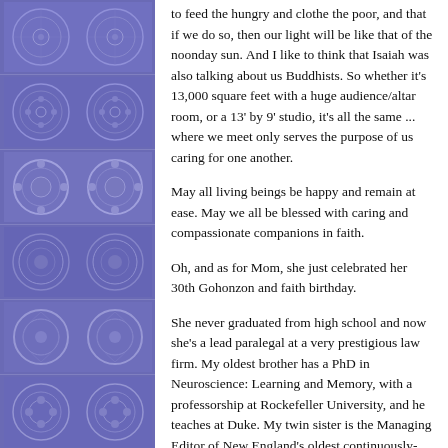[Figure (illustration): Decorative left panel with repeating blue/purple embossed circular medallion tiles arranged vertically]
to feed the hungry and clothe the poor, and that if we do so, then our light will be like that of the noonday sun. And I like to think that Isaiah was also talking about us Buddhists. So whether it's 13,000 square feet with a huge audience/altar room, or a 13' by 9' studio, it's all the same ... where we meet only serves the purpose of us caring for one another.
May all living beings be happy and remain at ease. May we all be blessed with caring and compassionate companions in faith.
Oh, and as for Mom, she just celebrated her 30th Gohonzon and faith birthday.
She never graduated from high school and now she's a lead paralegal at a very prestigious law firm. My oldest brother has a PhD in Neuroscience: Learning and Memory, with a professorship at Rockefeller University, and he teaches at Duke. My twin sister is the Managing Editor of New England's oldest continuously-run African-American